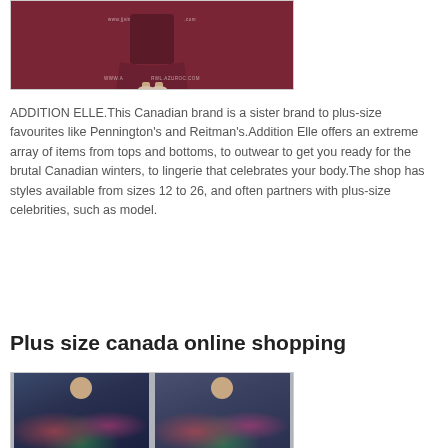[Figure (photo): Photo of a woman wearing a dark burgundy/wine-colored long dress or maxi outfit, shown from waist down with heels, against a white background. Watermark text visible.]
ADDITION ELLE.This Canadian brand is a sister brand to plus-size favourites like Pennington's and Reitman's.Addition Elle offers an extreme array of items from tops and bottoms, to outwear to get you ready for the brutal Canadian winters, to lingerie that celebrates your body.The shop has styles available from sizes 12 to 26, and often partners with plus-size celebrities, such as model.
Plus size canada online shopping
[Figure (photo): Two female models wearing floral print tops/blouses against a light grey background. Left model has dark hair, right model also has dark hair and appears to be wearing a floral kimono-style top.]